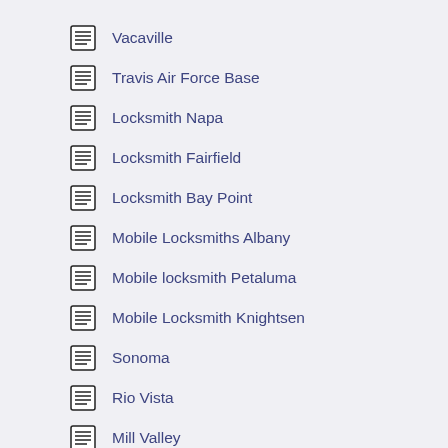Vacaville
Travis Air Force Base
Locksmith Napa
Locksmith Fairfield
Locksmith Bay Point
Mobile Locksmiths Albany
Mobile locksmith Petaluma
Mobile Locksmith Knightsen
Sonoma
Rio Vista
Mill Valley
Kentfield CA.
Crockett CA.